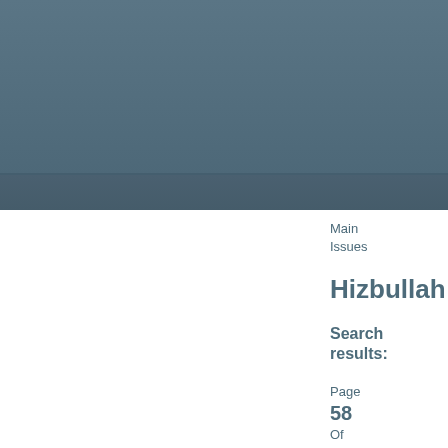[Figure (other): A large blue-grey rectangular banner/header image spanning the full width of the page. It has a slightly darker horizontal stripe near the bottom, giving a two-tone appearance.]
Main
Issues
Hizbullah
Search
results:
Page
58
Of